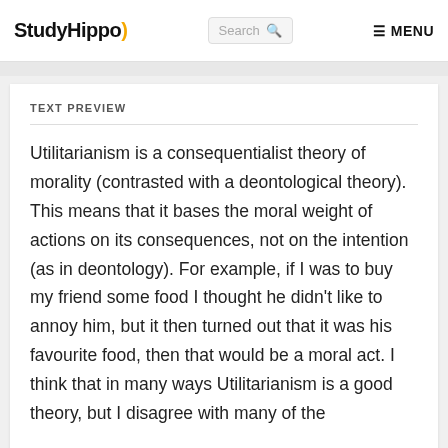StudyHippo) Search [icon] ≡ MENU
TEXT PREVIEW
Utilitarianism is a consequentialist theory of morality (contrasted with a deontological theory). This means that it bases the moral weight of actions on its consequences, not on the intention (as in deontology). For example, if I was to buy my friend some food I thought he didn't like to annoy him, but it then turned out that it was his favourite food, then that would be a moral act. I think that in many ways Utilitarianism is a good theory, but I disagree with many of the